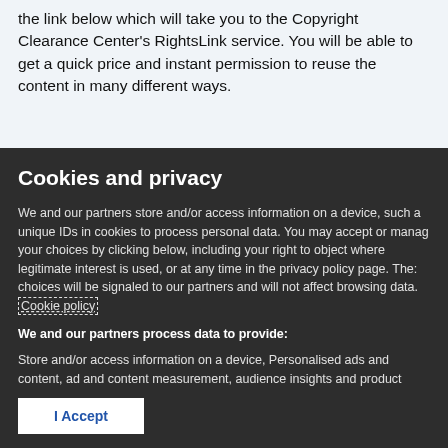the link below which will take you to the Copyright Clearance Center's RightsLink service. You will be able to get a quick price and instant permission to reuse the content in many different ways.
Cookies and privacy
We and our partners store and/or access information on a device, such as unique IDs in cookies to process personal data. You may accept or manage your choices by clicking below, including your right to object where legitimate interest is used, or at any time in the privacy policy page. These choices will be signaled to our partners and will not affect browsing data. Cookie policy
We and our partners process data to provide:
Store and/or access information on a device, Personalised ads and content, ad and content measurement, audience insights and product development, Use precise geolocation data, Actively scan device characteristics for identification
List of Partners (vendors)
I Accept